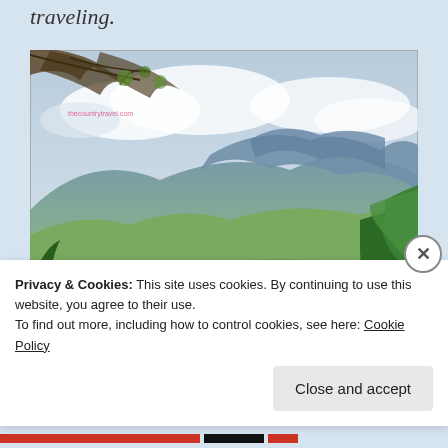traveling.
[Figure (photo): Scenic landscape photograph showing a lush green valley with mountains in the background under a partly cloudy sky, with tree branches in the foreground. Watermark text visible in upper left area.]
Privacy & Cookies: This site uses cookies. By continuing to use this website, you agree to their use.
To find out more, including how to control cookies, see here: Cookie Policy
Close and accept